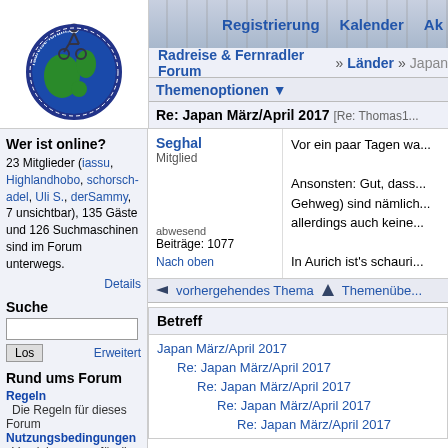[Figure (logo): radreise-forum.de logo with cyclist on globe]
Registrierung   Kalender   Ak
Radreise & Fernradler Forum » Länder » Japan
Themenoptionen ▼
Re: Japan März/April 2017 [Re: Thomas1...
Seghal
Mitglied

abwesend
Beiträge: 1077
Nach oben
Vor ein paar Tagen wa...

Ansonsten: Gut, dass... Gehweg) sind nämlich... allerdings auch keine...

In Aurich ist's schauri...
◄ vorhergehendes Thema   ◆ Themenübe...
Wer ist online?
23 Mitglieder (iassu, Highlandhobo, schorsch-adel, Uli S., derSammy, 7 unsichtbar), 135 Gäste und 126 Suchmaschinen sind im Forum unterwegs.
Details
Suche
Los    Erweitert
Rund ums Forum
Regeln
Die Regeln für dieses Forum
Nutzungsbedingungen
Vereinbarungen für die Benutzung
Das Team
Wer steht hinter dem Forum?
Verifizierung
Offenlegung deiner Identität
Beteiligte Homepages
Radreise-Seiten, die das Forum
Betreff
Japan März/April 2017
  Re: Japan März/April 2017
    Re: Japan März/April 2017
      Re: Japan März/April 2017
        Re: Japan März/April 2017